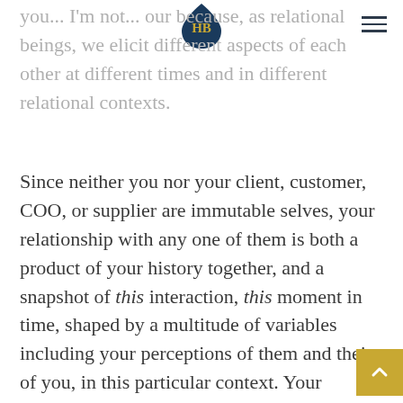HB logo and navigation
you... I'm not... our because, as relational beings, we elicit different aspects of each other at different times and in different relational contexts.
Since neither you nor your client, customer, COO, or supplier are immutable selves, your relationship with any one of them is both a product of your history together, and a snapshot of this interaction, this moment in time, shaped by a multitude of variables including your perceptions of them and theirs of you, in this particular context. Your relationship is mediated by the degree of self-awareness each of you has developed, by the quality of your multiple intelligences, the